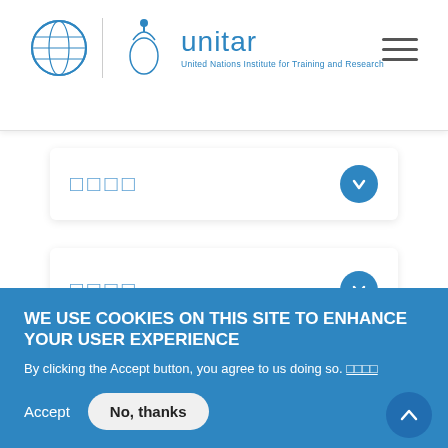[Figure (logo): UNITAR logo — United Nations globe icon, torch/leaf icon, 'unitar' wordmark, and tagline 'United Nations Institute for Training and Research']
[Figure (other): Accordion card 1 with placeholder text (redacted) and blue chevron-down button]
[Figure (other): Accordion card 2 with placeholder text (redacted) and blue chevron-down button]
WE USE COOKIES ON THIS SITE TO ENHANCE YOUR USER EXPERIENCE
By clicking the Accept button, you agree to us doing so. [link text redacted]
Accept
No, thanks